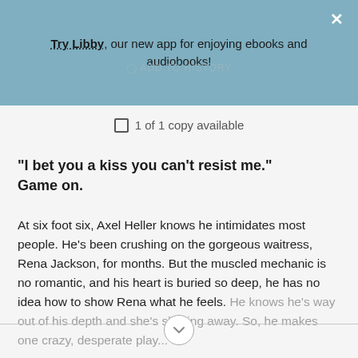Try Libby, our new app for enjoying ebooks and audiobooks!
ADD TO HISTORY
1 of 1 copy available
"I bet you a kiss you can't resist me."
Game on.
At six foot six, Axel Heller knows he intimidates most people. He's been crushing on the gorgeous waitress, Rena Jackson, for months. But the muscled mechanic is no romantic, and his heart is buried so deep, he has no idea how to show Rena what he feels. He knows he's way out of his depth and she's slipping away. So, he makes one crazy, desperate play...